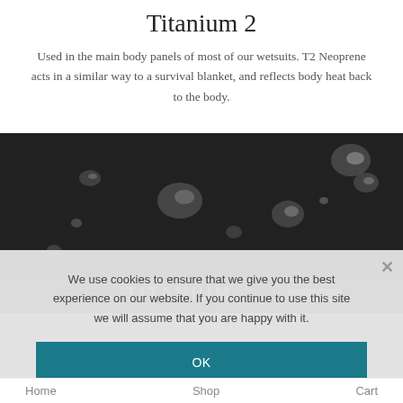Titanium 2
Used in the main body panels of most of our wetsuits. T2 Neoprene acts in a similar way to a survival blanket, and reflects body heat back to the body.
[Figure (photo): Close-up photo of dark neoprene material with water droplets on the surface]
We use cookies to ensure that we give you the best experience on our website. If you continue to use this site we will assume that you are happy with it.
OK
PRIVACY POLICY
Home    Shop    Cart